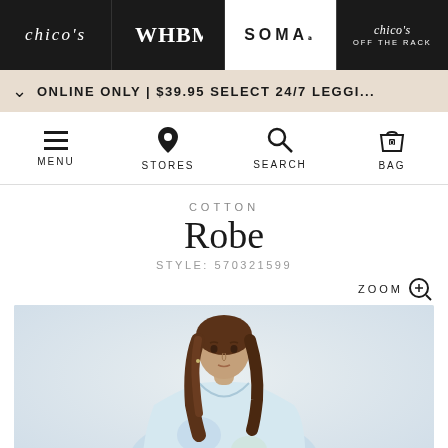chico's | WHBM | SOMA | chico's OFF THE RACK
ONLINE ONLY | $39.95 SELECT 24/7 LEGGI...
[Figure (screenshot): Navigation icons: MENU (hamburger), STORES (location pin), SEARCH (magnifying glass), BAG (shopping bag with 0)]
COTTON
Robe
STYLE: 570321599
[Figure (photo): Woman with long brown hair wearing a light blue/white tie-dye cotton robe, photographed from the waist up against a light grey background]